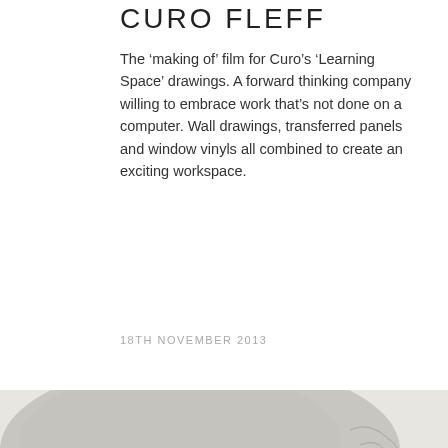CURO FLEFF
The ‘making of’ film for Curo’s ‘Learning Space’ drawings. A forward thinking company willing to embrace work that’s not done on a computer. Wall drawings, transferred panels and window vinyls all combined to create an exciting workspace.
18TH NOVEMBER 2013
[Figure (photo): A colorful graffiti-style illustrated hat/cap sits on a white surface with hand-drawn black and white wall art visible in the background.]